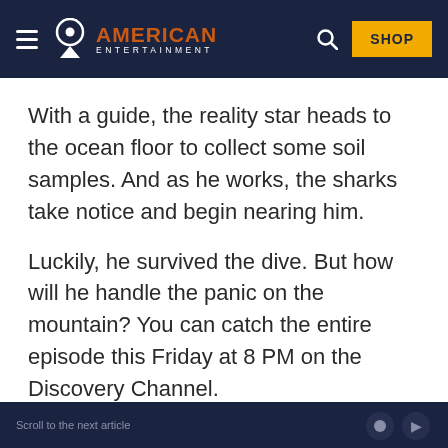AMERICAN ENTERTAINMENT
With a guide, the reality star heads to the ocean floor to collect some soil samples. And as he works, the sharks take notice and begin nearing him.
Luckily, he survived the dive. But how will he handle the panic on the mountain? You can catch the entire episode this Friday at 8 PM on the Discovery Channel.
Scroll to the next article